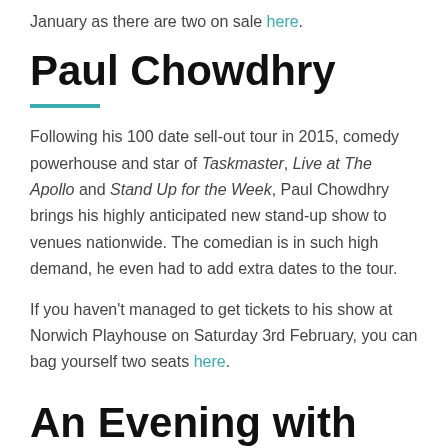January as there are two on sale here.
Paul Chowdhry
Following his 100 date sell-out tour in 2015, comedy powerhouse and star of Taskmaster, Live at The Apollo and Stand Up for the Week, Paul Chowdhry brings his highly anticipated new stand-up show to venues nationwide. The comedian is in such high demand, he even had to add extra dates to the tour.
If you haven't managed to get tickets to his show at Norwich Playhouse on Saturday 3rd February, you can bag yourself two seats here.
An Evening with Katya Zamolodchikova